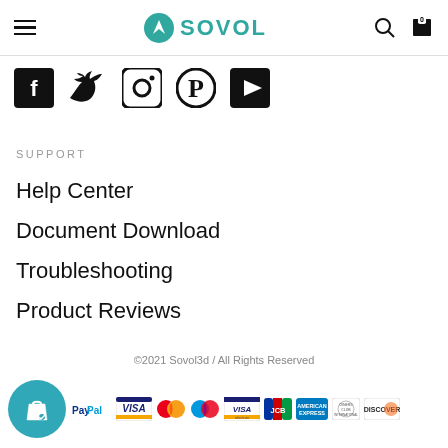SOVOL (logo with hamburger menu, search, and cart)
[Figure (illustration): Social media icons row: Facebook, Twitter, Instagram, Pinterest, YouTube]
SUPPORT
Help Center
Document Download
Troubleshooting
Product Reviews
©2021 Sovol3d / All Rights Reserved
[Figure (logo): Payment method logos: PayPal, Visa, Mastercard, Maestro, Visa Electron, JCB, American Express, Diners Club, Discover, plus teal shopping bag icon]